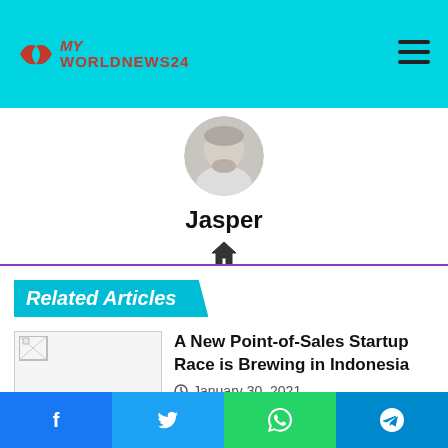MY WORLDNEWS24
[Figure (photo): Circular profile photo of Jasper, a person with grey/white hair and beard wearing light clothing]
Jasper
[Figure (illustration): Home/house icon]
Related Articles
[Figure (photo): Thumbnail image for article - broken/loading image placeholder]
A New Point-of-Sales Startup Race is Brewing in Indonesia
January 30, 2021
Find out why travel is